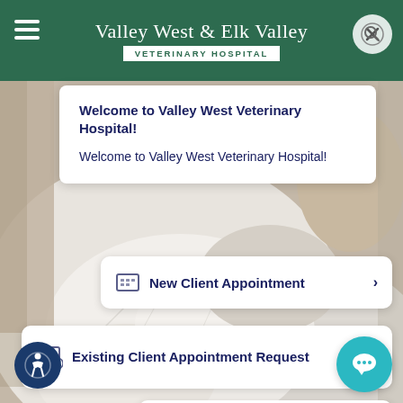[Figure (screenshot): Mobile website screenshot of Valley West & Elk Valley Veterinary Hospital with green header, hamburger menu, search/close icon, and a background photo of a white cat]
Valley West & Elk Valley VETERINARY HOSPITAL
Welcome to Valley West Veterinary Hospital!
Welcome to Valley West Veterinary Hospital!
New Client Appointment >
Existing Client Appointment Request >
Something else >